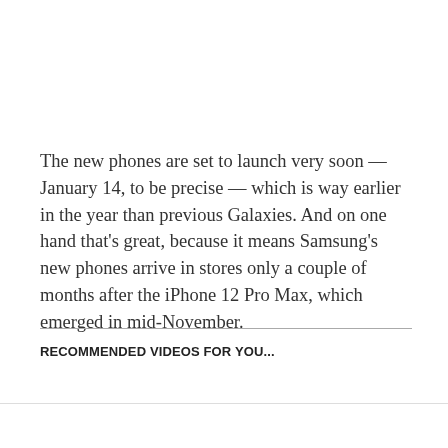The new phones are set to launch very soon — January 14, to be precise — which is way earlier in the year than previous Galaxies. And on one hand that's great, because it means Samsung's new phones arrive in stores only a couple of months after the iPhone 12 Pro Max, which emerged in mid-November.
RECOMMENDED VIDEOS FOR YOU...